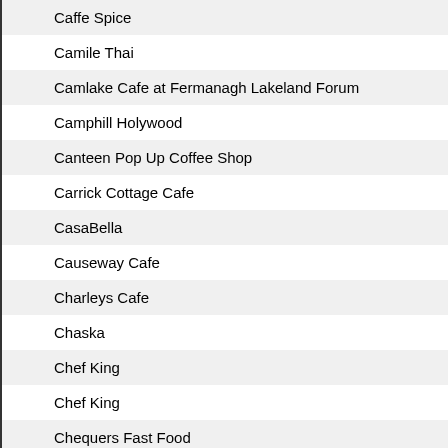|  | Name | Location |
| --- | --- | --- |
|  | Caffe Spice | LAR |
|  | Camile Thai | BEL |
|  | Camlake Cafe at Fermanagh Lakeland Forum | ENN |
|  | Camphill Holywood | HOL |
|  | Canteen Pop Up Coffee Shop | BAN |
|  | Carrick Cottage Cafe | ANN |
|  | CasaBella | BEL |
|  | Causeway Cafe | BEL |
|  | Charleys Cafe | LET |
|  | Chaska | ENN |
|  | Chef King | BEL |
|  | Chef King | BEL |
|  | Chequers Fast Food | COL |
|  | Chick N Lick N | BEL |
|  | Chicken Lickn | BEL |
|  | City Picnic | BEL |
|  | Clements Ballyhackamore | BEL |
|  | Clements Botanic Avenue | BEL |